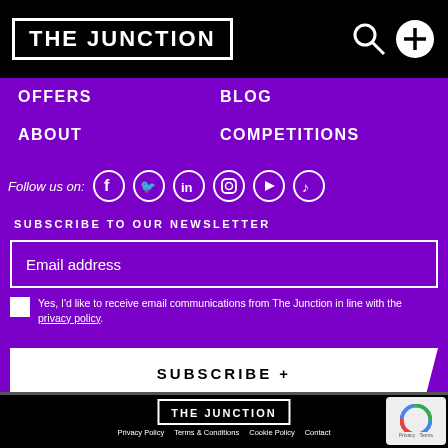THE JUNCTION
OFFERS
BLOG
ABOUT
COMPETITIONS
Follow us on: [Facebook] [Twitter] [LinkedIn] [Instagram] [YouTube] [TikTok]
SUBSCRIBE TO OUR NEWSLETTER
Email address
Yes, I'd like to receive email communications from The Junction in line with the privacy policy.
SUBSCRIBE +
THE JUNCTION | Privacy Policy  Terms & Conditions  Cookie Policy  Contact